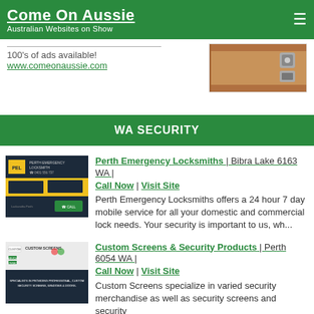Come On Aussie - Australian Websites on Show
[Figure (screenshot): Ad banner with text '100’s of ads available!' and 'www.comeonaussie.com' and a lockbox image on the right]
WA SECURITY
[Figure (screenshot): Perth Emergency Locksmiths website thumbnail - dark blue background with PEL yellow logo]
Perth Emergency Locksmiths | Bibra Lake 6163 WA | Call Now | Visit Site
Perth Emergency Locksmiths offers a 24 hour 7 day mobile service for all your domestic and commercial lock needs. Your security is important to us, wh...
[Figure (screenshot): Custom Screens & Security Products website thumbnail]
Custom Screens & Security Products | Perth 6054 WA | Call Now | Visit Site
Custom Screens specialize in varied security merchandise as well as security screens and security